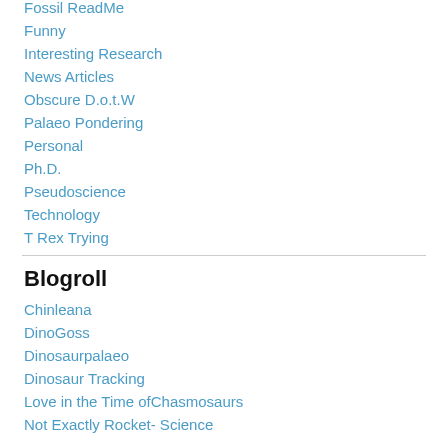Fossil ReadMe
Funny
Interesting Research
News Articles
Obscure D.o.t.W
Palaeo Pondering
Personal
Ph.D.
Pseudoscience
Technology
T Rex Trying
Blogroll
Chinleana
DinoGoss
Dinosaurpalaeo
Dinosaur Tracking
Love in the Time ofChasmosaurs
Not Exactly Rocket- Science